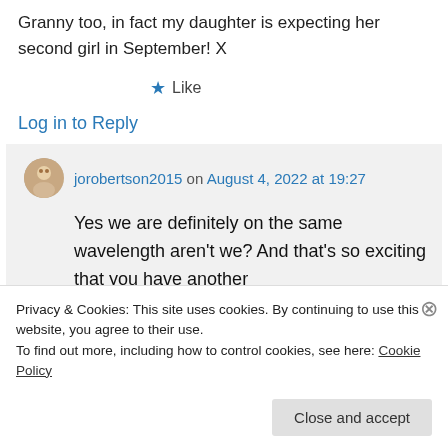Granny too, in fact my daughter is expecting her second girl in September! X
★ Like
Log in to Reply
jorobertson2015 on August 4, 2022 at 19:27
Yes we are definitely on the same wavelength aren't we? And that's so exciting that you have another
Privacy & Cookies: This site uses cookies. By continuing to use this website, you agree to their use.
To find out more, including how to control cookies, see here: Cookie Policy
Close and accept